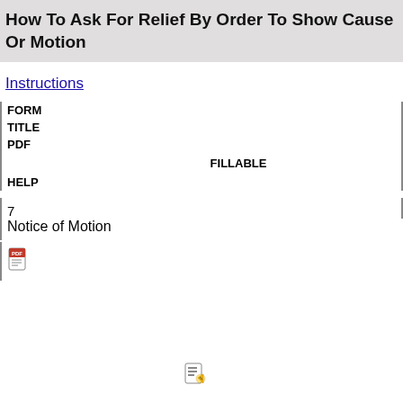How To Ask For Relief By Order To Show Cause Or Motion
Instructions
| FORM | TITLE | PDF | FILLABLE | HELP |
| --- | --- | --- | --- | --- |
|  |  |  |  |  |
7
Notice of Motion
[Figure (other): PDF document icon (red)]
[Figure (other): Fillable form icon]